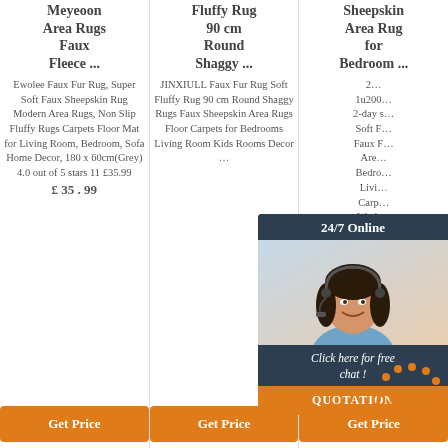Meyeoon Area Rugs Faux Fleece ...
Fluffy Rug 90 cm Round Shaggy ...
Sheepskin Area Rug for Bedroom ...
Ewolee Faux Fur Rug, Super Soft Faux Sheepskin Rug Modern Area Rugs, Non Slip Fluffy Rugs Carpets Floor Mat for Living Room, Bedroom, Sofa Home Decor, 180 x 60cm(Grey) 4.0 out of 5 stars 11 £35.99 £ 35 . 99
JINXIULL Faux Fur Rug Soft Fluffy Rug 90 cm Round Shaggy Rugs Faux Sheepskin Area Rugs Floor Carpets for Bedrooms Living Room Kids Rooms Decor …
2… 1u200… 2-day s… Soft F… Faux F… Are… Bedro… Livi… Carp… Wash… Mat, 71x31.5 inches White, Grey, Khaki, Pink at …
[Figure (photo): Chat support widget showing a smiling female agent with headset, dark background with '24/7 Online' header and 'Click here for free chat!' message with orange QUOTATION button]
Get Price (button for product 1)
Get Price (button for product 2)
Get Price (button for product 3)